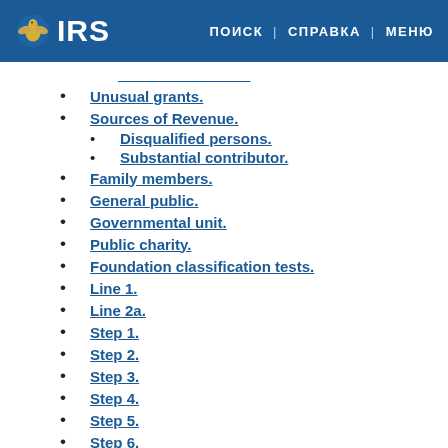IRS | ПОИСК | СПРАВКА | МЕНЮ
Unusual grants.
Sources of Revenue.
Disqualified persons.
Substantial contributor.
Family members.
General public.
Governmental unit.
Public charity.
Foundation classification tests.
Line 1.
Line 2a.
Step 1.
Step 2.
Step 3.
Step 4.
Step 5.
Step 6.
Step 7.
Note.